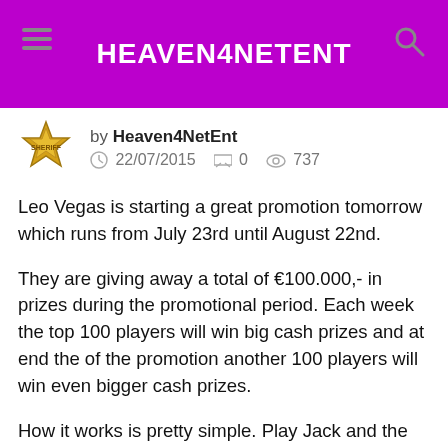HEAVEN4NETENT
by Heaven4NetEnt
22/07/2015   0   737
Leo Vegas is starting a great promotion tomorrow which runs from July 23rd until August 22nd.
They are giving away a total of €100.000,- in prizes during the promotional period. Each week the top 100 players will win big cash prizes and at end the of the promotion another 100 players will win even bigger cash prizes.
How it works is pretty simple. Play Jack and the Beanstalk, Twin Spin, Spiñata Grande, Gonzo's Quest or Neon Staxx. For every €1,- you wager on any of these games you will receive 1 ticket. Collect as many tickets as possible during a week and enter the top 100 for a cash prize at the end of